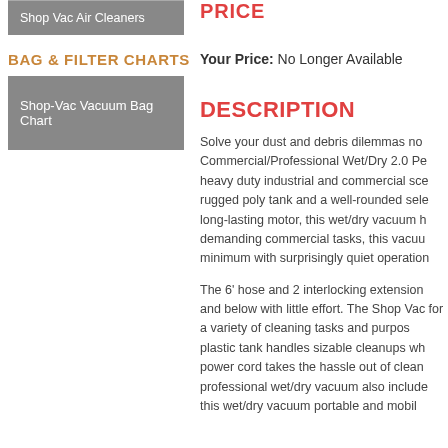Shop Vac Air Cleaners
BAG & FILTER CHARTS
Shop-Vac Vacuum Bag Chart
PRICE
Your Price: No Longer Available
DESCRIPTION
Solve your dust and debris dilemmas no Commercial/Professional Wet/Dry 2.0 Pe heavy duty industrial and commercial sce rugged poly tank and a well-rounded sele long-lasting motor, this wet/dry vacuum h demanding commercial tasks, this vacuu minimum with surprisingly quiet operation
The 6' hose and 2 interlocking extension and below with little effort. The Shop Vac for a variety of cleaning tasks and purpos plastic tank handles sizable cleanups wh power cord takes the hassle out of clean professional wet/dry vacuum also include this wet/dry vacuum portable and mobil